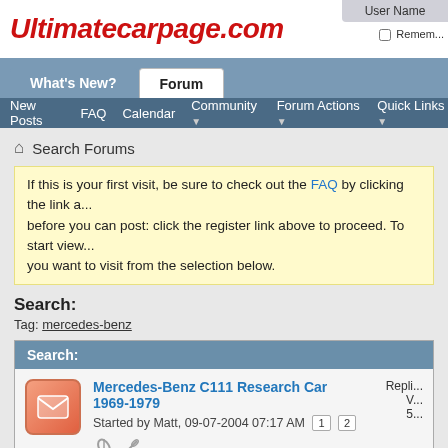Ultimatecarpage.com
What's New? | Forum
New Posts  FAQ  Calendar  Community  Forum Actions  Quick Links
Search Forums
If this is your first visit, be sure to check out the FAQ by clicking the link a... before you can post: click the register link above to proceed. To start view... you want to visit from the selection below.
Search:
Tag: mercedes-benz
Search:
Mercedes-Benz C111 Research Car 1969-1979
Started by Matt, 09-07-2004 07:17 AM  1  2
Repli... V... 5...
Mercedes-Benz X-Class (W470) 2017-2020
Started by Duell, 03-02-2017 12:55 PM
Rep... Views:
Forum...